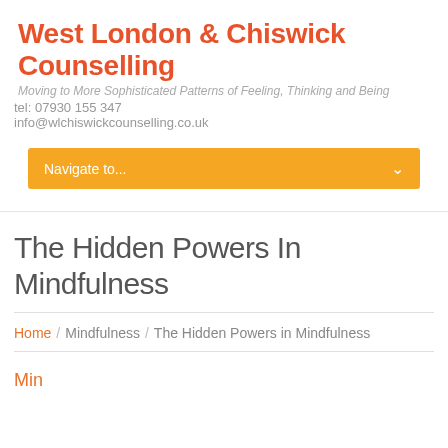West London & Chiswick Counselling
Moving to More Sophisticated Patterns of Feeling, Thinking and Being
tel: 07930 155 347
info@wlchiswickcounselling.co.uk
[Figure (other): Navigation dropdown bar with orange background, text 'Navigate to...' and a chevron arrow on the right]
The Hidden Powers In Mindfulness
Home / Mindfulness / The Hidden Powers in Mindfulness
Min